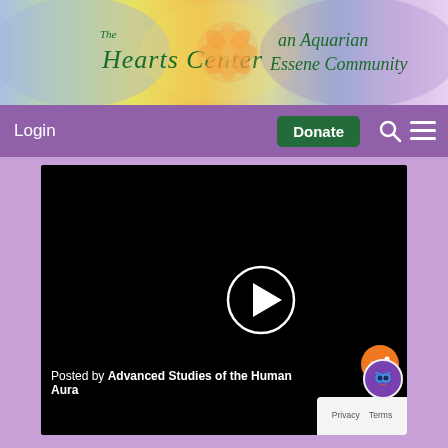[Figure (logo): The Hearts Center - an Aquarian Essene Community banner with rainbow gradient background and rose logo]
Login | Donate | Search | Menu
[Figure (screenshot): Black video player with play button in center-right area. Caption reads: Posted by Advanced Studies of the Human Aura]